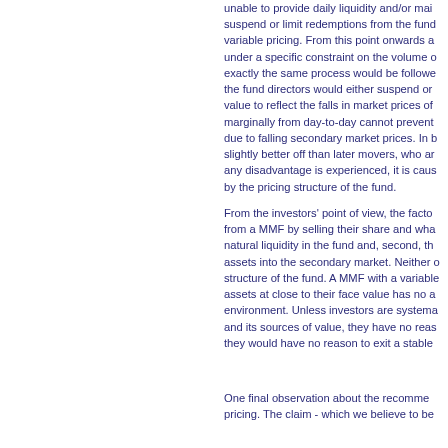unable to provide daily liquidity and/or mai suspend or limit redemptions from the fund variable pricing. From this point onwards a under a specific constraint on the volume o exactly the same process would be followe the fund directors would either suspend or value to reflect the falls in market prices of marginally from day-to-day cannot prevent due to falling secondary market prices. In b slightly better off than later movers, who ar any disadvantage is experienced, it is caus by the pricing structure of the fund.
From the investors' point of view, the facto from a MMF by selling their share and wha natural liquidity in the fund and, second, th assets into the secondary market. Neither o structure of the fund. A MMF with a variable assets at close to their face value has no a environment. Unless investors are systema and its sources of value, they have no reas they would have no reason to exit a stable
One final observation about the recomme pricing. The claim - which we believe to be